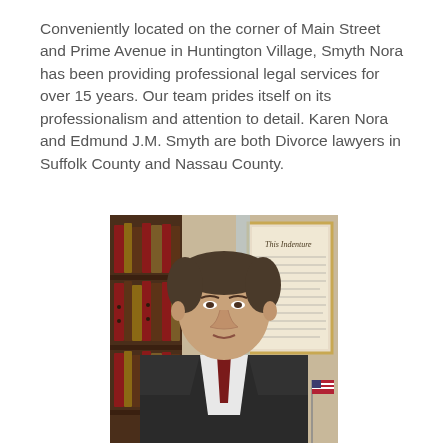Conveniently located on the corner of Main Street and Prime Avenue in Huntington Village, Smyth Nora has been providing professional legal services for over 15 years. Our team prides itself on its professionalism and attention to detail. Karen Nora and Edmund J.M. Smyth are both Divorce lawyers in Suffolk County and Nassau County.
[Figure (photo): Professional portrait photo of a middle-aged man in a dark suit with a dark red tie, seated in front of a bookshelf with law books and a framed document on the wall behind him, with small flags visible in the background.]